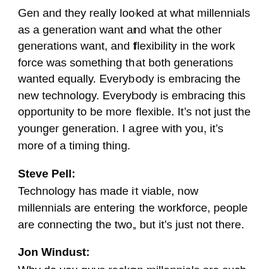Interestingly, last year, ATO did a report called First Gen and they really looked at what millennials as a generation want and what the other generations want, and flexibility in the work force was something that both generations wanted equally. Everybody is embracing the new technology. Everybody is embracing this opportunity to be more flexible. It's not just the younger generation. I agree with you, it's more of a timing thing.
Steve Pell: Technology has made it viable, now millennials are entering the workforce, people are connecting the two, but it's just not there.
Jon Windust: Why do you guys reckon millennials are such a hot topic right now?